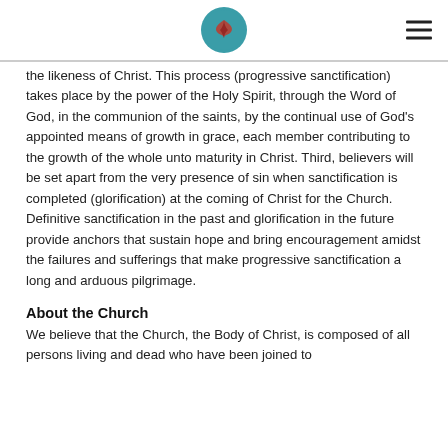[Logo icon] [Hamburger menu]
the likeness of Christ. This process (progressive sanctification) takes place by the power of the Holy Spirit, through the Word of God, in the communion of the saints, by the continual use of God's appointed means of growth in grace, each member contributing to the growth of the whole unto maturity in Christ. Third, believers will be set apart from the very presence of sin when sanctification is completed (glorification) at the coming of Christ for the Church. Definitive sanctification in the past and glorification in the future provide anchors that sustain hope and bring encouragement amidst the failures and sufferings that make progressive sanctification a long and arduous pilgrimage.
About the Church
We believe that the Church, the Body of Christ, is composed of all persons living and dead who have been joined to